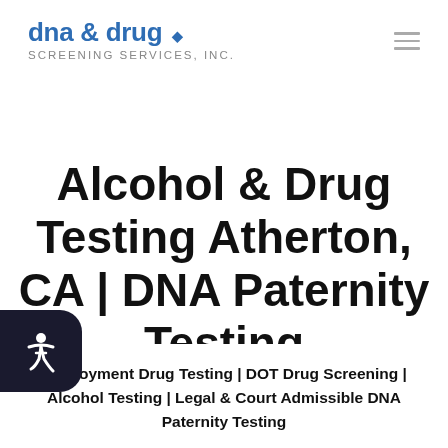dna & drug • SCREENING SERVICES, INC.
Alcohol & Drug Testing Atherton, CA | DNA Paternity Testing
Employment Drug Testing | DOT Drug Screening | Alcohol Testing | Legal & Court Admissible DNA Paternity Testing